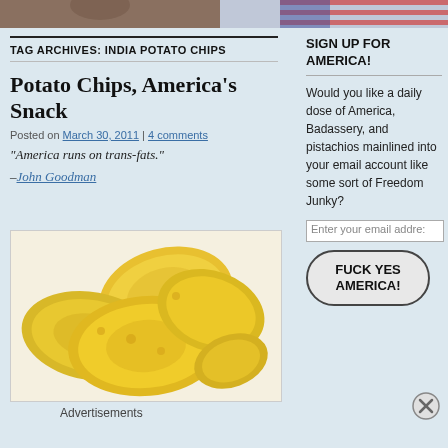[Figure (photo): Top banner with partial image of person and US flag]
TAG ARCHIVES: INDIA POTATO CHIPS
Potato Chips, America's Snack
Posted on March 30, 2011 | 4 comments
"America runs on trans-fats."
–John Goodman
[Figure (photo): Photo of potato chips piled together on white background]
Advertisements
SIGN UP FOR AMERICA!
Would you like a daily dose of America, Badassery, and pistachios mainlined into your email account like some sort of Freedom Junky?
Enter your email addre:
FUCK YES AMERICA!